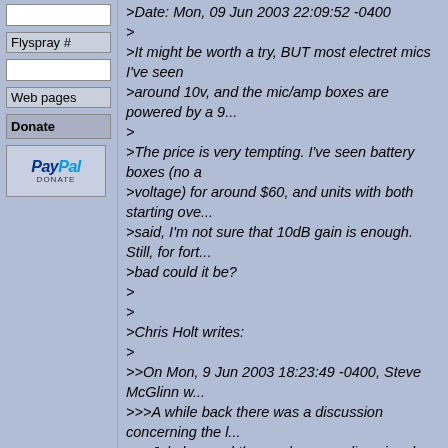Flyspray #
Web pages
Donate
[Figure (logo): PayPal Donate button logo]
>Date: Mon, 09 Jun 2003 22:09:52 -0400
>
>It might be worth a try, BUT most electret mics I've seen are powered around 10v, and the mic/amp boxes are powered by a 9...
>
>The price is very tempting. I've seen battery boxes (no a... voltage) for around $60, and units with both starting over... said, I'm not sure that 10dB gain is enough. Still, for fort... bad could it be?
>
>
>Chris Holt writes:
>
>>On Mon, 9 Jun 2003 18:23:49 -0400, Steve McGlinn w...
>>>A while back there was a discussion concerning the l...
>>>Jukebox and the weaker recording signal that resulte...
>>>microphone to it, rather than using the built-in mic. I f...
>>>that may offer a solution. See below. They have man...
>>>'booster' with computer sound card line-ins in mind, b...
>>>it wouldn't work with the Archos Jukebox.
>>>
>>>http://www.audioheadsets.com/mc1.html
>>>
>>>
>>>Anyone care to comment?
>>
>>>I'd say it looks like a good, inexpensive solution. Pair it...
>>>quality electret mics (which aren't really suer expensive...
>>>have a winner.
>>